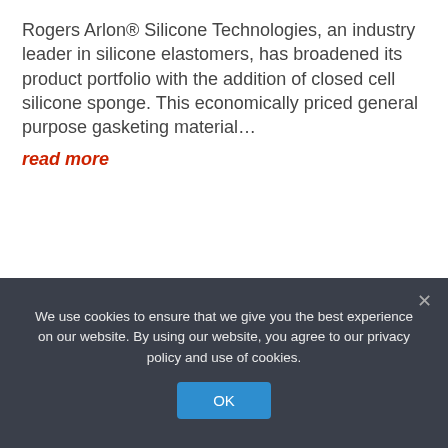Rogers Arlon® Silicone Technologies, an industry leader in silicone elastomers, has broadened its product portfolio with the addition of closed cell silicone sponge. This economically priced general purpose gasketing material… read more
[Figure (photo): Close-up photo of layered red/orange silicone sponge sheets with textured surface and grey backing, fanned out diagonally showing multiple layers]
We use cookies to ensure that we give you the best experience on our website. By using our website, you agree to our privacy policy and use of cookies.